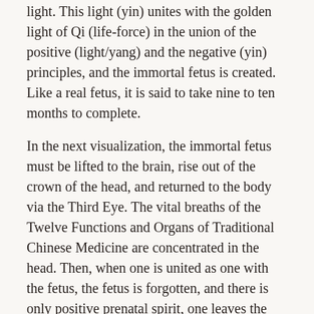light. This light (yin) unites with the golden light of Qi (life-force) in the union of the positive (light/yang) and the negative (yin) principles, and the immortal fetus is created. Like a real fetus, it is said to take nine to ten months to complete.
In the next visualization, the immortal fetus must be lifted to the brain, rise out of the crown of the head, and returned to the body via the Third Eye. The vital breaths of the Twelve Functions and Organs of Traditional Chinese Medicine are concentrated in the head. Then, when one is united as one with the fetus, the fetus is forgotten, and there is only positive prenatal spirit, one leaves the mortal body from the crown of the head, stirred by the thought of emptiness.
As the immortal fetus, or rather, the positive